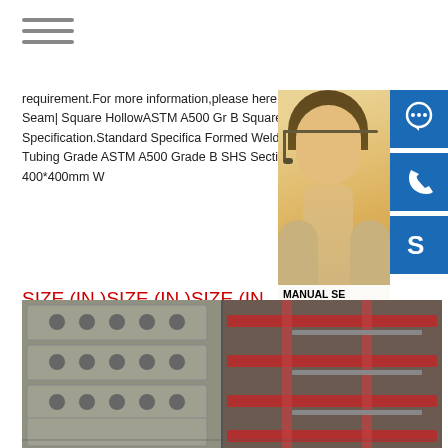[Figure (screenshot): Hamburger menu icon (three horizontal lines)]
requirement.For more information,please here.12345NextASTM A500 Gr B Seamless Square HollowASTM A500 Gr B Square Section Specification.Standard Specification Formed Welded and Seamless Carbon Steel Tubing Grade ASTM A500 Grade B SHS (Hollow Sections) Sizes 20*20mm-400*400mm W
SIZE (IN.)SIZE (IN.)SIZE (IN.) 50.8x50.82.5x2.5-63.5x63.5 76.2x76.23.5x3.5-88.9x88.9 kenzai.jpCold Formed ASTM Square Hollow Section,SHS
[Figure (photo): Customer service representative (woman wearing headset) with blue icon buttons for chat, phone, and Skype on the right side. Contact overlay shows MANUAL SE, QUOTING O, Email: bsteel1@163.com]
[Figure (photo): Industrial warehouse interior showing steel structural components, concrete panels with round holes, and red steel girders/beams]